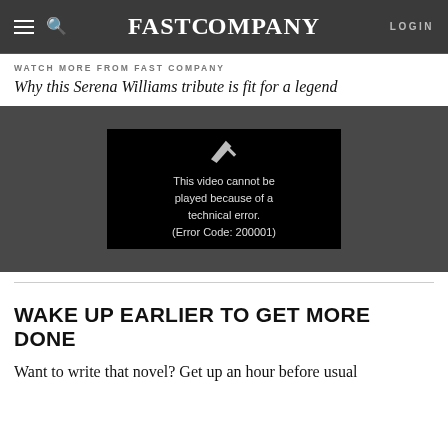FAST COMPANY  LOGIN
WATCH MORE FROM FAST COMPANY
Why this Serena Williams tribute is fit for a legend
[Figure (screenshot): Video player showing error message: This video cannot be played because of a technical error. (Error Code: 200001)]
WAKE UP EARLIER TO GET MORE DONE
Want to write that novel? Get up an hour before usual